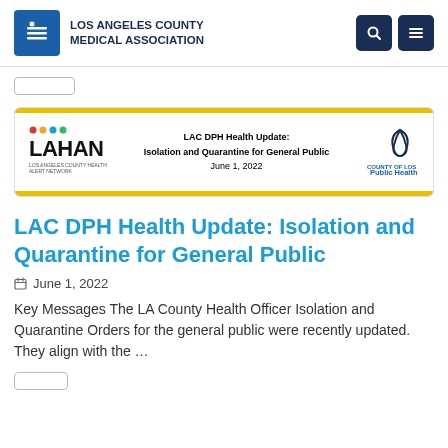LOS ANGELES COUNTY MEDICAL ASSOCIATION
[Figure (screenshot): Document preview card showing LAHAN logo on left, centered text 'LAC DPH Health Update: Isolation and Quarantine for General Public, June 1, 2022', and LA County Public Health logo on right, framed by yellow bars top and bottom.]
LAC DPH Health Update: Isolation and Quarantine for General Public
June 1, 2022
Key Messages The LA County Health Officer Isolation and Quarantine Orders for the general public were recently updated. They align with the …